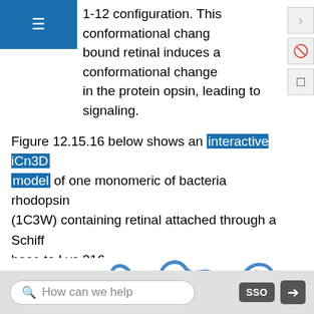1-12 configuration. This conformational change in the protein opsin, leading to signaling.
Figure 12.15.16 below shows an interactive iCn3D model of one monomeric of bacteria rhodopsin (1C3W) containing retinal attached through a Schiff base to Lys 216.
[Figure (illustration): 3D molecular model of bacteriorhodopsin (1C3W) showing red helical transmembrane segments connected by blue loop regions, with gray spherical atoms representing the retinal molecule attached via Schiff base to Lys 216.]
How can we help